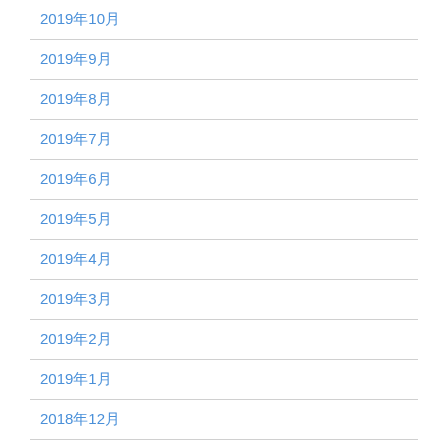2019年10月
2019年9月
2019年8月
2019年7月
2019年6月
2019年5月
2019年4月
2019年3月
2019年2月
2019年1月
2018年12月
2018年11月
2018年10月